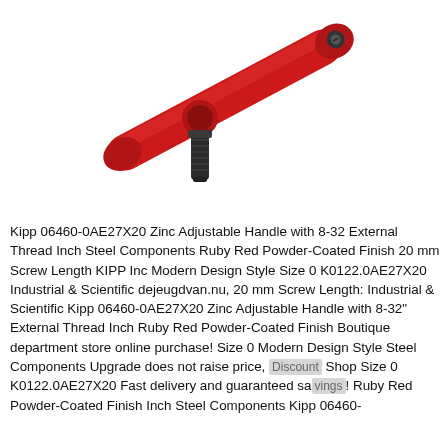[Figure (photo): A red zinc adjustable handle (KIPP 06460-0AE27X20) with a black steel threaded bolt/screw at the bottom. The handle is angled, with the red ergonomic lever arm extending diagonally upper-right to lower-left, and a black cylindrical threaded stud pointing downward.]
Kipp 06460-0AE27X20 Zinc Adjustable Handle with 8-32 External Thread Inch Steel Components Ruby Red Powder-Coated Finish 20 mm Screw Length KIPP Inc Modern Design Style Size 0 K0122.0AE27X20 Industrial & Scientific dejeugdvan.nu, 20 mm Screw Length: Industrial & Scientific Kipp 06460-0AE27X20 Zinc Adjustable Handle with 8-32" External Thread Inch Ruby Red Powder-Coated Finish Boutique department store online purchase! Size 0 Modern Design Style Steel Components Upgrade does not raise price, Discount Shop Size 0 K0122.0AE27X20 Fast delivery and guaranteed savings! Ruby Red Powder-Coated Finish Inch Steel Components Kipp 06460-